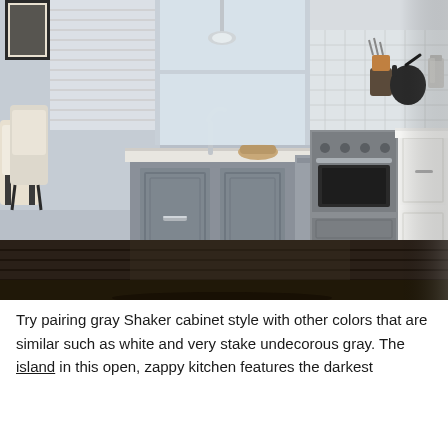[Figure (photo): A modern kitchen interior showing a gray shaker-style island in the foreground with panel-style cabinet doors and silver bar pulls, white wall cabinets and base cabinets on the right side, a professional stainless steel range/oven in the center background, white marble-style countertops, a reflective dark hardwood floor, large windows providing natural light, kitchen tools and a kettle visible on the counter, and dining chairs visible in the background left.]
Try pairing gray Shaker cabinet style with other colors that are similar such as white and very stake undecorous gray. The island in this open, zappy kitchen features the darkest